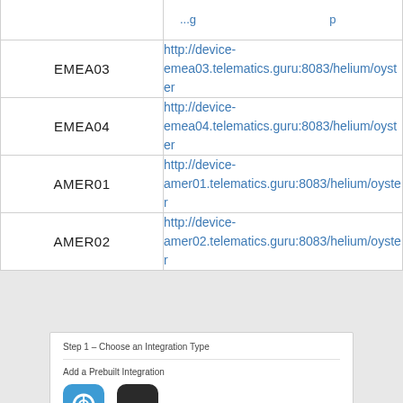| Region | URL |
| --- | --- |
| EMEA03 | http://device-emea03.telematics.guru:8083/helium/oyster... |
| EMEA04 | http://device-emea04.telematics.guru:8083/helium/oyster... |
| AMER01 | http://device-amer01.telematics.guru:8083/helium/oyster... |
| AMER02 | http://device-amer02.telematics.guru:8083/helium/oyster... |
[Figure (screenshot): Step 1 - Choose an Integration Type panel with 'Add a Prebuilt Integration' section showing two app icons]